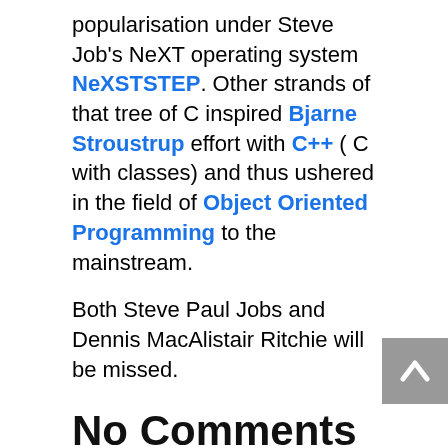popularisation under Steve Job's NeXT operating system NeXSTSTEP. Other strands of that tree of C inspired Bjarne Stroustrup effort with C++ ( C with classes) and thus ushered in the field of Object Oriented Programming to the mainstream.
Both Steve Paul Jobs and Dennis MacAlistair Ritchie will be missed.
No Comments
No comments yet.
RSS feed for comments on this post.
Sorry, the comment form is closed at this